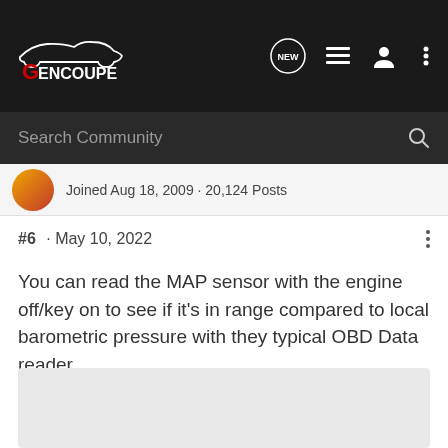GENCOUPE
Search Community
Joined Aug 18, 2009 · 20,124 Posts
#6 · May 10, 2022
You can read the MAP sensor with the engine off/key on to see if it's in range compared to local barometric pressure with they typical OBD Data reader.
[Figure (photo): Partially visible image placeholder at bottom of page]